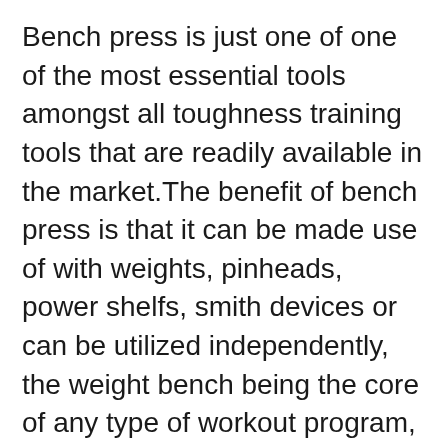Bench press is just one of one of the most essential tools amongst all toughness training tools that are readily available in the market.The benefit of bench press is that it can be made use of with weights, pinheads, power shelfs, smith devices or can be utilized independently, the weight bench being the core of any type of workout program, aids in constructing triceps muscles as well as upper body at the exact same time. Not straight relevant to 'weight training devices' it can be made use of as one essential element in creating an incredible body.
Envision an individual with well muscled arms, specified breast as well as v formed back! The solitary terminals are created to